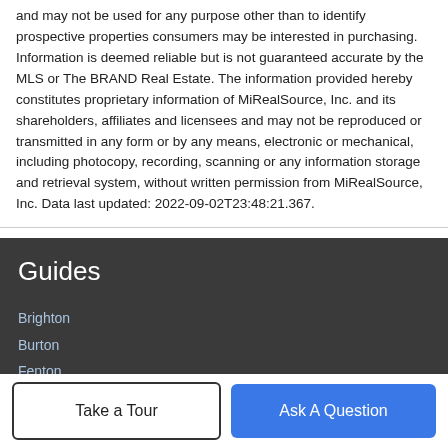and may not be used for any purpose other than to identify prospective properties consumers may be interested in purchasing. Information is deemed reliable but is not guaranteed accurate by the MLS or The BRAND Real Estate. The information provided hereby constitutes proprietary information of MiRealSource, Inc. and its shareholders, affiliates and licensees and may not be reproduced or transmitted in any form or by any means, electronic or mechanical, including photocopy, recording, scanning or any information storage and retrieval system, without written permission from MiRealSource, Inc. Data last updated: 2022-09-02T23:48:21.367.
Guides
Brighton
Burton
Fenton
Flint